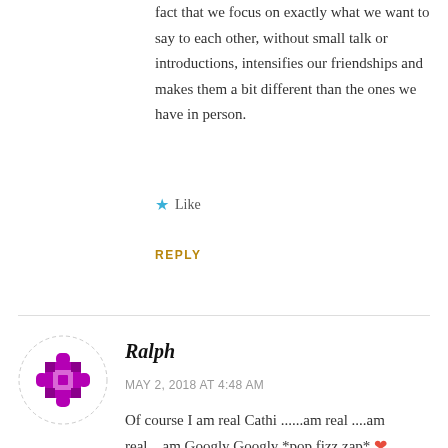fact that we focus on exactly what we want to say to each other, without small talk or introductions, intensifies our friendships and makes them a bit different than the ones we have in person.
★ Like
REPLY
[Figure (illustration): Purple/magenta geometric puzzle-piece avatar icon for user Ralph]
Ralph
MAY 2, 2018 AT 4:48 AM
Of course I am real Cathi ......am real ....am real....am Googly Googly *pop fizz zap* ❤